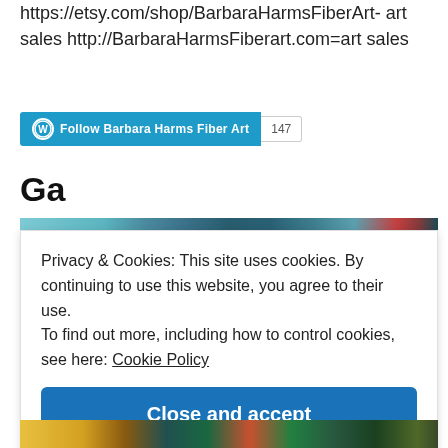https://etsy.com/shop/BarbaraHarmsFiberArt- art sales http://BarbaraHarmsFiberart.com=art sales
[Figure (screenshot): WordPress Follow button for Barbara Harms Fiber Art with follower count of 147]
Ga
[Figure (photo): Top portion of an artwork image showing colorful painting]
Privacy & Cookies: This site uses cookies. By continuing to use this website, you agree to their use.
To find out more, including how to control cookies, see here: Cookie Policy
Close and accept
[Figure (photo): Bottom strip of artwork images showing sunflowers and foliage painting]